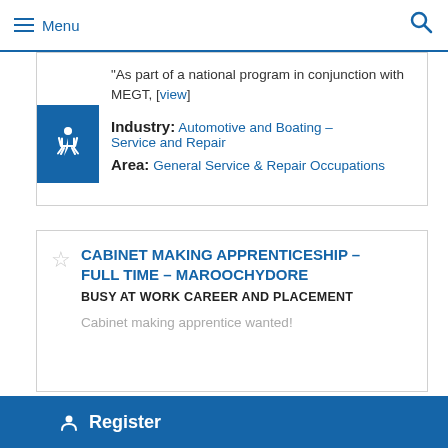Menu
"As part of a national program in conjunction with MEGT, [view]
Industry: Automotive and Boating - Service and Repair
Area: General Service & Repair Occupations
CABINET MAKING APPRENTICESHIP – FULL TIME – MAROOCHYDORE
BUSY AT WORK CAREER AND PLACEMENT
Cabinet making apprentice wanted!
Register